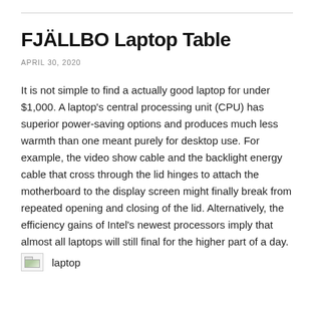FJÄLLBO Laptop Table
APRIL 30, 2020
It is not simple to find a actually good laptop for under $1,000. A laptop's central processing unit (CPU) has superior power-saving options and produces much less warmth than one meant purely for desktop use. For example, the video show cable and the backlight energy cable that cross through the lid hinges to attach the motherboard to the display screen might finally break from repeated opening and closing of the lid. Alternatively, the efficiency gains of Intel's newest processors imply that almost all laptops will still final for the higher part of a day.
[Figure (photo): Broken image placeholder with label 'laptop']